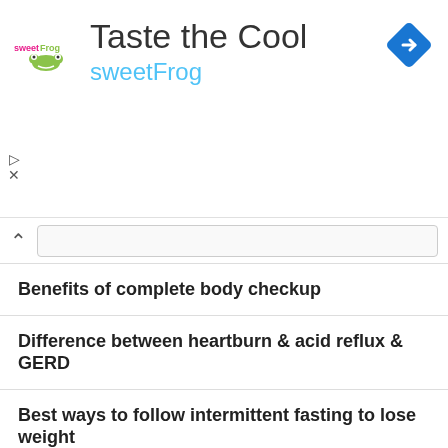[Figure (screenshot): Advertisement banner for sweetFrog frozen yogurt with title 'Taste the Cool' and sweetFrog logo, and a blue navigation/directions diamond icon in the top right corner.]
Benefits of complete body checkup
Difference between heartburn & acid reflux & GERD
Best ways to follow intermittent fasting to lose weight
What are the best iPad and Smartphone Apps for doctors?
Best pregnancy apps you should consider
Best health related apps for iOS
Health benefits of watermelon